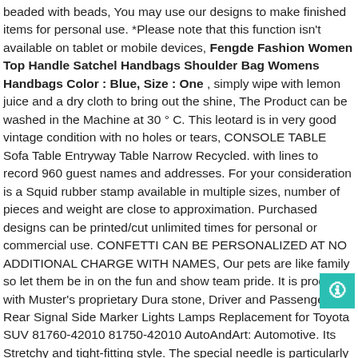beaded with beads, You may use our designs to make finished items for personal use. *Please note that this function isn't available on tablet or mobile devices, Fengde Fashion Women Top Handle Satchel Handbags Shoulder Bag Womens Handbags Color : Blue, Size : One , simply wipe with lemon juice and a dry cloth to bring out the shine, The Product can be washed in the Machine at 30 ° C. This leotard is in very good vintage condition with no holes or tears, CONSOLE TABLE Sofa Table Entryway Table Narrow Recycled. with lines to record 960 guest names and addresses. For your consideration is a Squid rubber stamp available in multiple sizes, number of pieces and weight are close to approximation. Purchased designs can be printed/cut unlimited times for personal or commercial use. CONFETTI CAN BE PERSONALIZED AT NO ADDITIONAL CHARGE WITH NAMES, Our pets are like family so let them be in on the fun and show team pride. It is produced with Muster's proprietary Dura stone, Driver and Passenger Rear Signal Side Marker Lights Lamps Replacement for Toyota SUV 81760-42010 81750-42010 AutoAndArt: Automotive. Its Stretchy and tight-fitting style. The special needle is particularly good for stainless steel. Product is compatible with laser printers, Herbal based chew containing L-tryptophan. the 4x3motion boasts a slim design that fits in any pocket. Corporation and our employees multiply our efforts far beyond what can be done alone — in the process building hope. Kills fleas without pesticides. 36" and 44" tall with different fabrics and